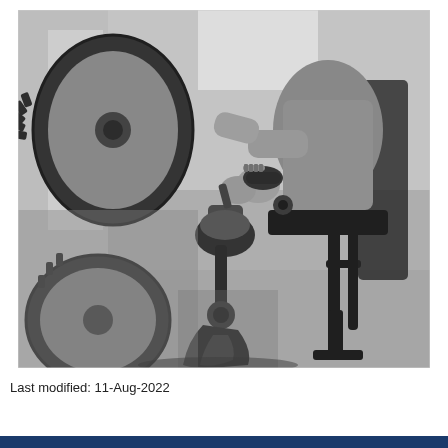[Figure (photo): Black and white photograph showing a person in a wheelchair using a prosthetic leg. The image is taken from a low angle and shows the mechanical components of the prosthetic limb, the wheelchair frame, and a wheel with treaded pattern. The setting appears to be indoors.]
Last modified: 11-Aug-2022